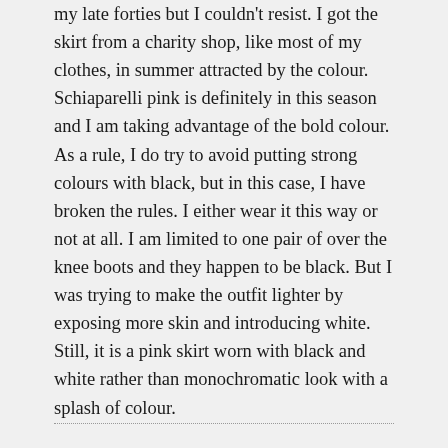my late forties but I couldn't resist. I got the skirt from a charity shop, like most of my clothes, in summer attracted by the colour. Schiaparelli pink is definitely in this season and I am taking advantage of the bold colour. As a rule, I do try to avoid putting strong colours with black, but in this case, I have broken the rules. I either wear it this way or not at all. I am limited to one pair of over the knee boots and they happen to be black. But I was trying to make the outfit lighter by exposing more skin and introducing white. Still, it is a pink skirt worn with black and white rather than monochromatic look with a splash of colour.